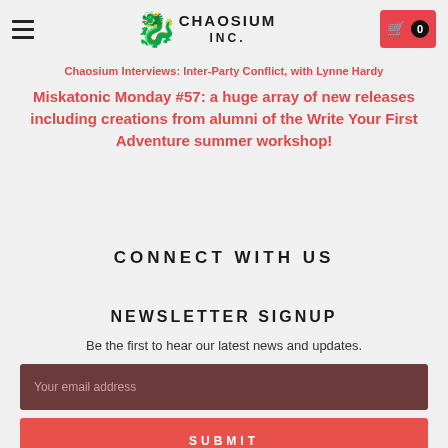Chaosium Inc. — navigation header with hamburger menu, logo, and cart button (0 items)
Chaosium Interviews: Inter-Party Conflict, with Lynne Hardy
Miskatonic Monday #57: a huge array of new releases including creations from alumni of the Write Your First Adventure summer workshop!
CONNECT WITH US
NEWSLETTER SIGNUP
Be the first to hear our latest news and updates.
Your email address
SUBMIT